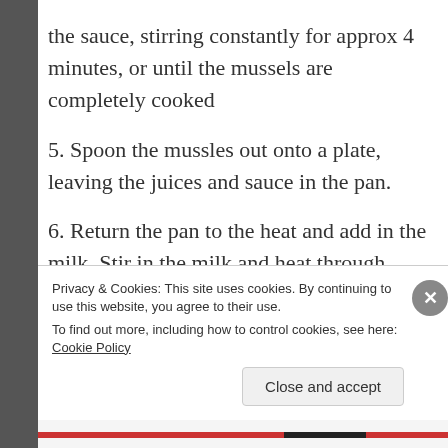the sauce, stirring constantly for approx 4 minutes, or until the mussels are completely cooked
5. Spoon the mussles out onto a plate, leaving the juices and sauce in the pan.
6. Return the pan to the heat and add in the milk. Stir in the milk and heat through.
Privacy & Cookies: This site uses cookies. By continuing to use this website, you agree to their use.
To find out more, including how to control cookies, see here: Cookie Policy
Close and accept